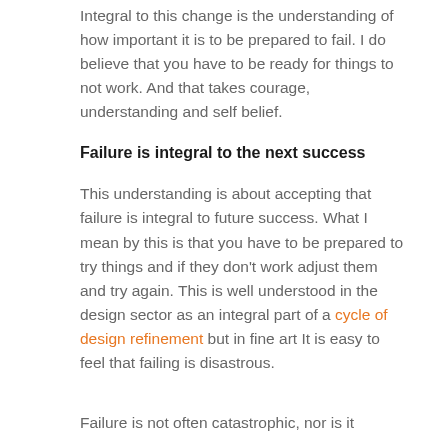Integral to this change is the understanding of how important it is to be prepared to fail. I do believe that you have to be ready for things to not work. And that takes courage, understanding and self belief.
Failure is integral to the next success
This understanding is about accepting that failure is integral to future success. What I mean by this is that you have to be prepared to try things and if they don't work adjust them and try again. This is well understood in the design sector as an integral part of a cycle of design refinement but in fine art It is easy to feel that failing is disastrous.
Failure is not often catastrophic, nor is it